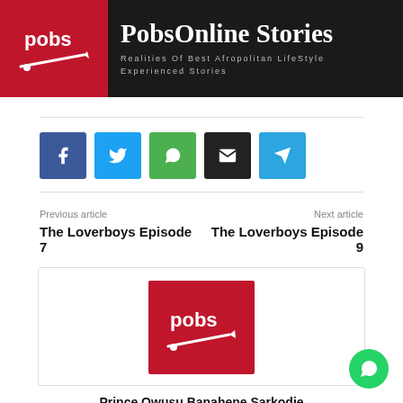PobsOnline Stories — Realities Of Best Afropolitan LifeStyle Experienced Stories
[Figure (logo): PobsOnline logo — red background with pobs text and pencil graphic]
Social share buttons: Facebook, Twitter, WhatsApp, Email, Telegram
Previous article: The Loverboys Episode 7 | Next article: The Loverboys Episode 9
[Figure (photo): Author card with red pobs logo image]
Prince Owusu Banahene Sarkodie